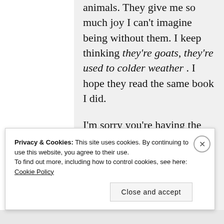animals. They give me so much joy I can't imagine being without them. I keep thinking they're goats, they're used to colder weather . I hope they read the same book I did.

I'm sorry you're having the ice/snow challenges, too. But it's nice having company in my SSS. We'll celebrate in the 40s. Have
Privacy & Cookies: This site uses cookies. By continuing to use this website, you agree to their use.
To find out more, including how to control cookies, see here: Cookie Policy